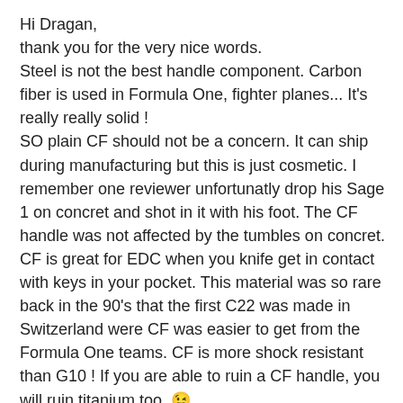Hi Dragan,
thank you for the very nice words.
Steel is not the best handle component. Carbon fiber is used in Formula One, fighter planes... It's really really solid !
SO plain CF should not be a concern. It can ship during manufacturing but this is just cosmetic. I remember one reviewer unfortunatly drop his Sage 1 on concret and shot in it with his foot. The CF handle was not affected by the tumbles on concret. CF is great for EDC when you knife get in contact with keys in your pocket. This material was so rare back in the 90's that the first C22 was made in Switzerland were CF was easier to get from the Formula One teams. CF is more shock resistant than G10 ! If you are able to ruin a CF handle, you will ruin titanium too. 😉

Now hard duty with that little knife is possible if you